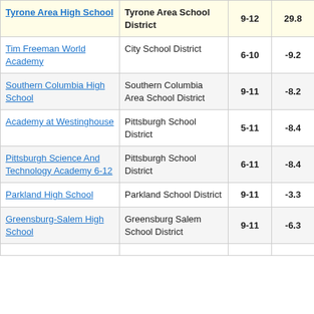| School | District | Grades | Score |  |
| --- | --- | --- | --- | --- |
| Tyrone Area High School | Tyrone Area School District | 9-12 | 29.8 |  |
| Tim Freeman World Academy | City School District | 6-10 | -9.2 |  |
| Southern Columbia High School | Southern Columbia Area School District | 9-11 | -8.2 |  |
| Academy at Westinghouse | Pittsburgh School District | 5-11 | -8.4 |  |
| Pittsburgh Science And Technology Academy 6-12 | Pittsburgh School District | 6-11 | -8.4 |  |
| Parkland High School | Parkland School District | 9-11 | -3.3 |  |
| Greensburg-Salem High School | Greensburg Salem School District | 9-11 | -6.3 |  |